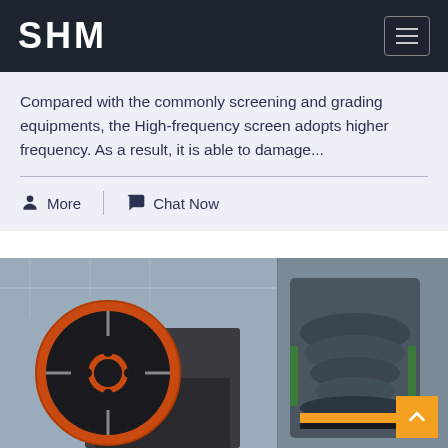SHM
Compared with the commonly screening and grading equipments, the High-frequency screen adopts higher frequency. As a result, it is able to damage...
More
Chat Now
[Figure (photo): Industrial mining/crushing machinery — a large black flywheel with orange rim on the left (jaw crusher), and a cylindrical cone crusher on the right, photographed in a factory/warehouse setting.]